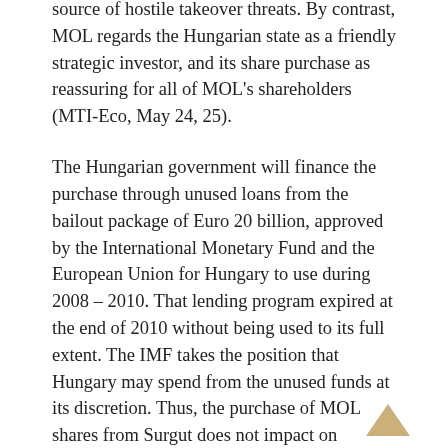source of hostile takeover threats. By contrast, MOL regards the Hungarian state as a friendly strategic investor, and its share purchase as reassuring for all of MOL's shareholders (MTI-Eco, May 24, 25).
The Hungarian government will finance the purchase through unused loans from the bailout package of Euro 20 billion, approved by the International Monetary Fund and the European Union for Hungary to use during 2008 – 2010. That lending program expired at the end of 2010 without being used to its full extent. The IMF takes the position that Hungary may spend from the unused funds at its discretion. Thus, the purchase of MOL shares from Surgut does not impact on Hungary's current budget deficit, though it increases Hungary's indebtedness in the medium term. Although Hungary's financial position remains